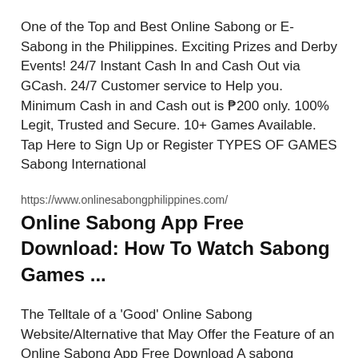One of the Top and Best Online Sabong or E-Sabong in the Philippines. Exciting Prizes and Derby Events! 24/7 Instant Cash In and Cash Out via GCash. 24/7 Customer service to Help you. Minimum Cash in and Cash out is ₱200 only. 100% Legit, Trusted and Secure. 10+ Games Available. Tap Here to Sign Up or Register TYPES OF GAMES Sabong International
https://www.onlinesabongphilippines.com/
Online Sabong App Free Download: How To Watch Sabong Games ...
The Telltale of a 'Good' Online Sabong Website/Alternative that May Offer the Feature of an Online Sabong App Free Download A sabong website with an online sabong app free download function is frequently featured on the homepages